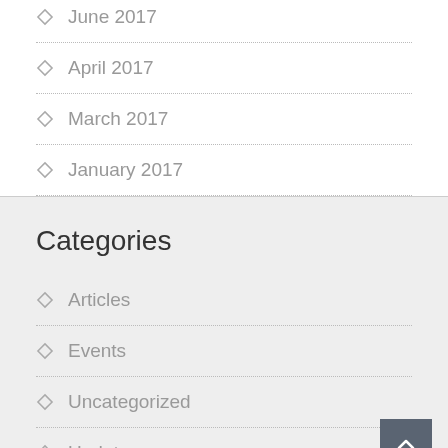June 2017
April 2017
March 2017
January 2017
Categories
Articles
Events
Uncategorized
Updates